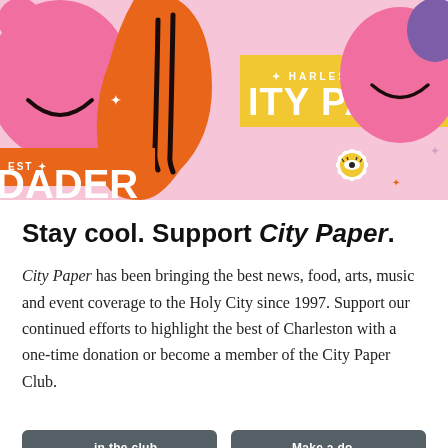[Figure (illustration): Colorful promotional banner for Charleston City Paper featuring melting smiley faces in pink, orange, and yellow, a white daisy flower with an eye, sparkle stars, and text reading 'CHARLESTON CITY PAPER' and 'EST. PAPER' on orange and yellow backgrounds.]
Stay cool. Support City Paper.
City Paper has been bringing the best news, food, arts, music and event coverage to the Holy City since 1997. Support our continued efforts to highlight the best of Charleston with a one-time donation or become a member of the City Paper Club.